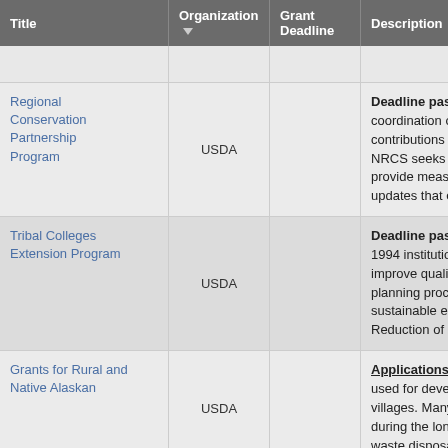| Title | Organization | Grant Deadline | Description |
| --- | --- | --- | --- |
|  |  |  |  |
| Regional Conservation Partnership Program | USDA |  | Deadline passed. Mos coordination of Natural contributions to expand NRCS seeks to co-inve provide measurable imp updates that encourage |
| Tribal Colleges Extension Program | USDA |  | Deadline passed. Mos 1994 institutions to deli improve quality of life. T planning process. To th sustainable energy; 2) Reduction of childhood |
| Grants for Rural and Native Alaskan | USDA |  | Applications accepted used for development a villages. Many commun during the long, hard wi waste disposal systems |